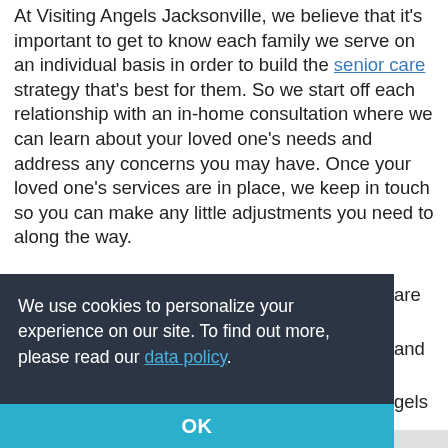At Visiting Angels Jacksonville, we believe that it's important to get to know each family we serve on an individual basis in order to build the senior care strategy that's best for them. So we start off each relationship with an in-home consultation where we can learn about your loved one's needs and address any concerns you may have. Once your loved one's services are in place, we keep in touch so you can make any little adjustments you need to along the way.
We use cookies to personalize your experience on our site. To find out more, please read our data policy.
OK